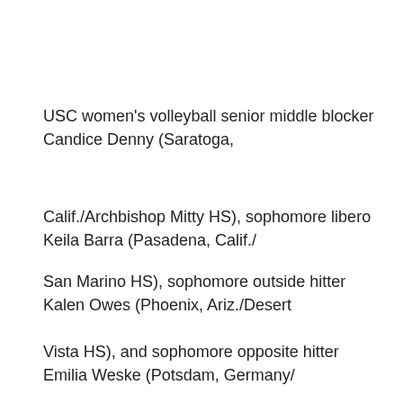USC women’s volleyball senior middle blocker Candice Denny (Saratoga,
Calif./Archbishop Mitty HS), sophomore libero Keila Barra (Pasadena, Calif./
San Marino HS), sophomore outside hitter Kalen Owes (Phoenix, Ariz./Desert
Vista HS), and sophomore opposite hitter Emilia Weske (Potsdam, Germany/
Leibniz Gymnasium) were each named to the Pac-12 Conference 2020-21 Fall